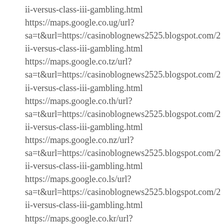ii-versus-class-iii-gambling.html
https://maps.google.co.ug/url?
sa=t&url=https://casinoblognews2525.blogspot.com/2
ii-versus-class-iii-gambling.html
https://maps.google.co.tz/url?
sa=t&url=https://casinoblognews2525.blogspot.com/2
ii-versus-class-iii-gambling.html
https://maps.google.co.th/url?
sa=t&url=https://casinoblognews2525.blogspot.com/2
ii-versus-class-iii-gambling.html
https://maps.google.co.nz/url?
sa=t&url=https://casinoblognews2525.blogspot.com/2
ii-versus-class-iii-gambling.html
https://maps.google.co.ls/url?
sa=t&url=https://casinoblognews2525.blogspot.com/2
ii-versus-class-iii-gambling.html
https://maps.google.co.kr/url?
sa=t&url=https://casinoblognews2525.blogspot.com/2
ii-versus-class-iii-gambling.html
https://maps.google.co.ke/url?
sa=t&url=https://casinoblognews2525.blogspot.com/2